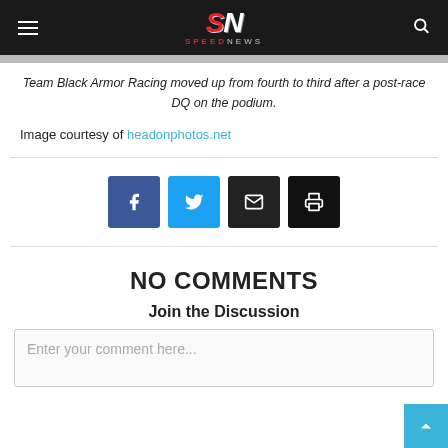SPEEDNEWS
Team Black Armor Racing moved up from fourth to third after a post-race DQ on the podium.
Image courtesy of headonphotos.net
[Figure (infographic): Social share buttons: Facebook, Twitter, Email, Print]
NO COMMENTS
Join the Discussion
Enter your comment here...